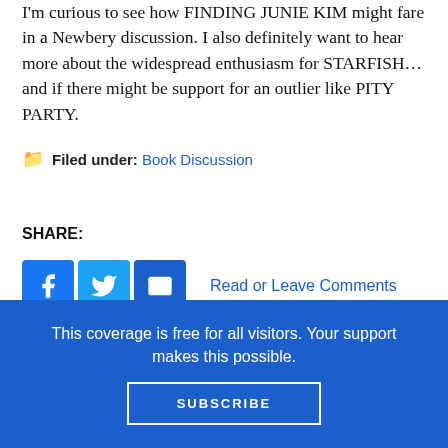I'm curious to see how FINDING JUNIE KIM might fare in a Newbery discussion. I also definitely want to hear more about the widespread enthusiasm for STARFISH…and if there might be support for an outlier like PITY PARTY.
Filed under: Book Discussion
SHARE: [Facebook] [Twitter] [Email] [+]  Read or Leave Comments
Finding Junie Kim
Heavy Medal
Mock Newbery
This coverage is free for all visitors. Your support makes this possible.
SUBSCRIBE